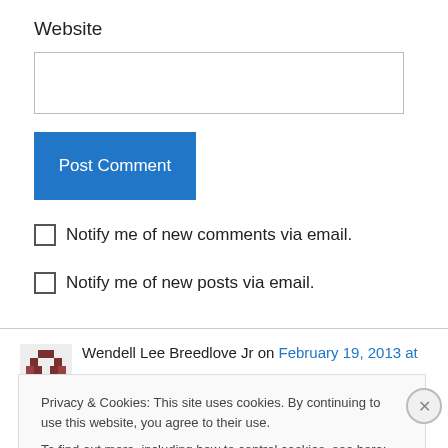Website
Post Comment
Notify me of new comments via email.
Notify me of new posts via email.
Wendell Lee Breedlove Jr on February 19, 2013 at
Privacy & Cookies: This site uses cookies. By continuing to use this website, you agree to their use.
To find out more, including how to control cookies, see here: Cookie Policy
Close and accept